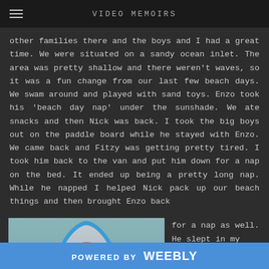VIDEO MEMOIRS
other families there and the boys and I had a great time. We were situated on a sandy ocean inlet. The area was pretty shallow and there weren't waves, so it was a fun change from our last few beach days. We swam around and played with sand toys. Enzo took his 'beach day nap' under the sunshade. We ate snacks and then Nick was back. I took the big boys out on the paddle board while he stayed with Enzo. We came back and Fitzy was getting pretty tired. I took him back to the van and put him down for a nap on the bed. It ended up being a pretty long nap. While he napped I helped Nick pack up our beach things and then brought Enzo back
[Figure (photo): A paddle board viewed from above, showing the front/nose of a blue paddle board on shallow water]
for a nap as well. He slept in my arms. Nick and Ozzy stayed busy
POWERED BY weebly